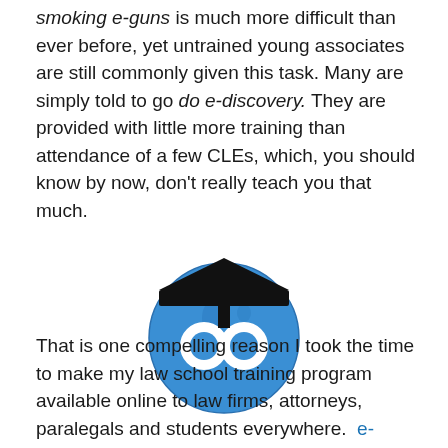smoking e-guns is much more difficult than ever before, yet untrained young associates are still commonly given this task. Many are simply told to go do e-discovery. They are provided with little more training than attendance of a few CLEs, which, you should know by now, don't really teach you that much.
[Figure (logo): Logo of e-DiscoveryTeamTraining.com: a blue globe wearing a black graduation cap and white round glasses]
That is one compelling reason I took the time to make my law school training program available online to law firms, attorneys, paralegals and students everywhere.  e-DiscoveryTeamTraining.com. It provides over 75 hours of